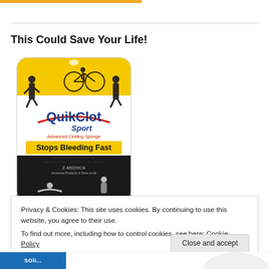This Could Save Your Life!
[Figure (photo): QuikClot Sport Advanced Clotting Sponge product package. Yellow top with silhouettes of athletes (cyclist, runner, climber, kayaker). White package center with QuikClot Sport logo in red and blue text. Yellow banner reads 'Stops Bleeding Fast'. Manufacturer: Z-MEDICA.]
Privacy & Cookies: This site uses cookies. By continuing to use this website, you agree to their use.
To find out more, including how to control cookies, see here: Cookie Policy
Close and accept